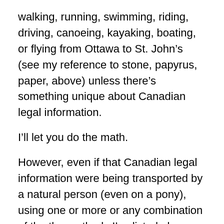walking, running, swimming, riding, driving, canoeing, kayaking, boating, or flying from Ottawa to St. John's (see my reference to stone, papyrus, paper, above) unless there's something unique about Canadian legal information.
I'll let you do the math.
However, even if that Canadian legal information were being transported by a natural person (even on a pony), using one or more or any combination of the the methods I've listed above, that information should have arrived in St. John's by now, assuming he or she left Ottawa reasonably soon after February 2007, or at least after June 2011. That's assuming no person ordinarily resident in St. John's, who might have good (or any) reason to acquire that information, and had visited Ottawa, or some